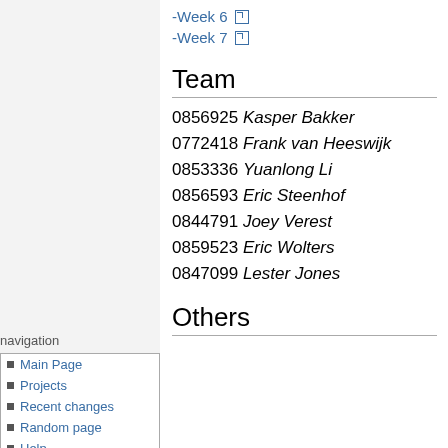-Week 6 [external link]
-Week 7 [external link]
Team
0856925 Kasper Bakker
0772418 Frank van Heeswijk
0853336 Yuanlong Li
0856593 Eric Steenhof
0844791 Joey Verest
0859523 Eric Wolters
0847099 Lester Jones
Others
navigation
Main Page
Projects
Recent changes
Random page
Help